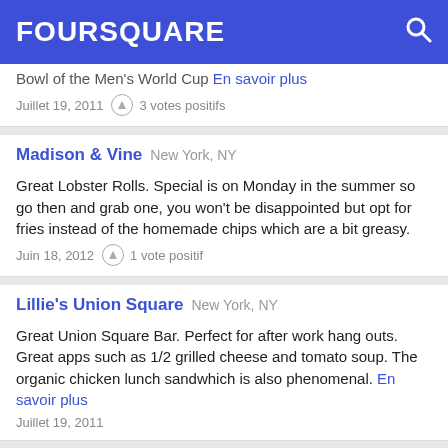FOURSQUARE
Bowl of the Men's World Cup En savoir plus
Juillet 19, 2011  3 votes positifs
Madison & Vine  New York, NY
Great Lobster Rolls. Special is on Monday in the summer so go then and grab one, you won't be disappointed but opt for fries instead of the homemade chips which are a bit greasy.
Juin 18, 2012  1 vote positif
Lillie's Union Square  New York, NY
Great Union Square Bar. Perfect for after work hang outs. Great apps such as 1/2 grilled cheese and tomato soup. The organic chicken lunch sandwhich is also phenomenal. En savoir plus
Juillet 19, 2011
Fifth Season  Port Jefferson, NY
I went last weekend, maybe my 4th or 5th time and this place is definitely one of the better restaurants in the area. I actually use to drive out to the Hamptons just to go to the original. Anyways, o